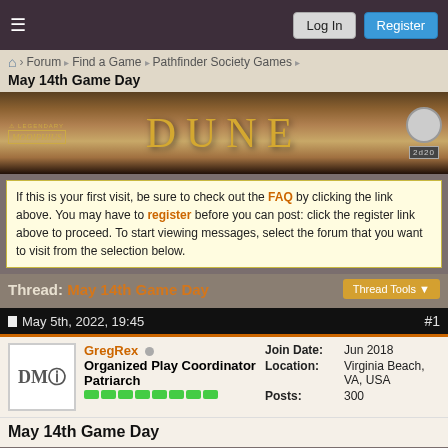Log In | Register
Forum › Find a Game › Pathfinder Society Games
May 14th Game Day
[Figure (illustration): Dune RPG promotional banner with Legendary Modiphius logos on left, stylized DUNE title in gold, and 2D20 game system logo on right]
If this is your first visit, be sure to check out the FAQ by clicking the link above. You may have to register before you can post: click the register link above to proceed. To start viewing messages, select the forum that you want to visit from the selection below.
Thread: May 14th Game Day
Thread Tools
May 5th, 2022, 19:45   #1
GregRex
Organized Play Coordinator
Patriarch
Join Date: Jun 2018
Location: Virginia Beach, VA, USA
Posts: 300
May 14th Game Day